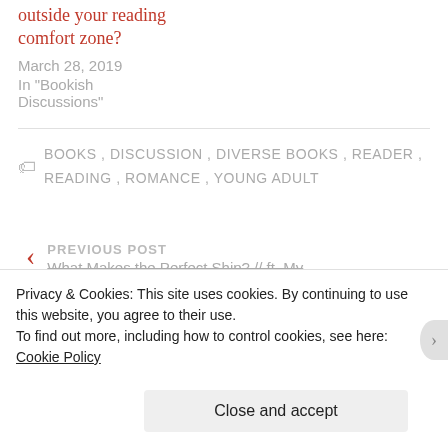outside your reading comfort zone?
March 28, 2019
In "Bookish Discussions"
BOOKS, DISCUSSION, DIVERSE BOOKS, READER, READING, ROMANCE, YOUNG ADULT
PREVIOUS POST
What Makes the Perfect Ship? // ft. My
Privacy & Cookies: This site uses cookies. By continuing to use this website, you agree to their use.
To find out more, including how to control cookies, see here: Cookie Policy
Close and accept